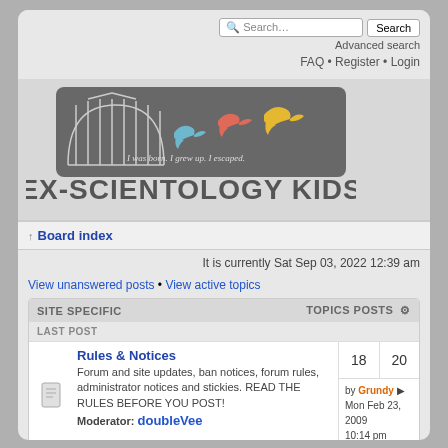[Figure (screenshot): Ex-Scientology Kids forum website screenshot showing search bar, navigation links, logo with birdcage and birds, board index, current time, view links, and forum table with Rules & Notices entry]
Search... Search Advanced search FAQ • Register • Login
[Figure (logo): Ex-Scientology Kids logo: birdcage with three birds (blue, red, yellow) on dark brushstroke background, text 'I was born. I grew up. I escaped.' and large text 'EX-SCIENTOLOGY KIDS']
Board index
It is currently Sat Sep 03, 2022 12:39 am
View unanswered posts • View active topics
| SITE SPECIFIC | TOPICS | POSTS |  | LAST POST |
| --- | --- | --- | --- | --- |
| Rules & Notices | 18 | 20 | by Grundy Mon Feb 23, 2009 10:14 pm |
| Introductions |  |  |  |